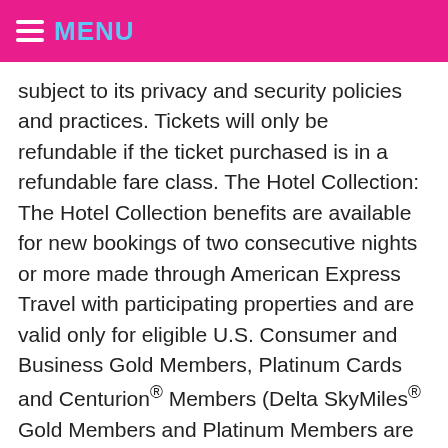MENU
subject to its privacy and security policies and practices. Tickets will only be refundable if the ticket purchased is in a refundable fare class. The Hotel Collection: The Hotel Collection benefits are available for new bookings of two consecutive nights or more made through American Express Travel with participating properties and are valid only for eligible U.S. Consumer and Business Gold Members, Platinum Cards and Centurion® Members (Delta SkyMiles® Gold Members and Platinum Members are not eligible). TSA Privacy Notice (found in Section 1560.103 of the Secure Flight Final Rule). Click for details. Hotel Offers for Popular Credit Cards. You also have the option to opt-out of these cookies. But opting out of some of these cookies may have an effect on your browsing experience. Participating domestic routes may be subject to change throughout the offer period and will